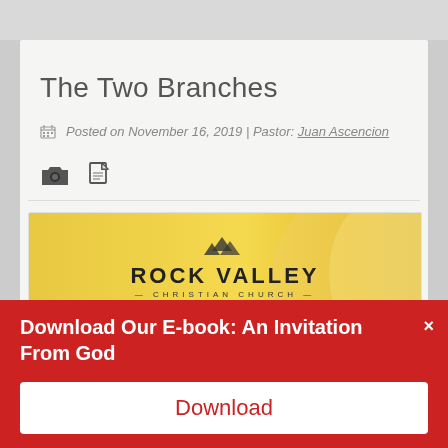The Two Branches
Posted on November 16, 2019 | Pastor: Juan Ascencion
[Figure (photo): Rock Valley Christian Church thumbnail image with gold/yellow background showing church logo and text 'THE' partially visible]
Download Our E-book: An Invitation From God
Download